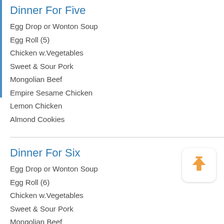Dinner For Five
Egg Drop or Wonton Soup
Egg Roll (5)
Chicken w.Vegetables
Sweet & Sour Pork
Mongolian Beef
Empire Sesame Chicken
Lemon Chicken
Almond Cookies
Dinner For Six
Egg Drop or Wonton Soup
Egg Roll (6)
Chicken w.Vegetables
Sweet & Sour Pork
Mongolian Beef
Empire Sesame Chicken
Lemon Chicken
Shrimp Lo Mein
Almond Cookies
Special Combo Platter